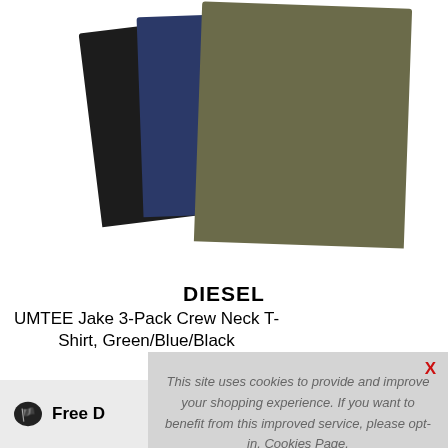[Figure (photo): Three folded crew neck t-shirts stacked and fanned out: black on the left, navy blue in the middle, olive/khaki green on the right]
DIESEL
UMTEE Jake 3-Pack Crew Neck T-Shirt, Green/Blue/Black
C...
Loading...
Free D...
This site uses cookies to provide and improve your shopping experience. If you want to benefit from this improved service, please opt-in. Cookies Page.
I opt-in to a better browsing experience
ACCEPT COOKIES